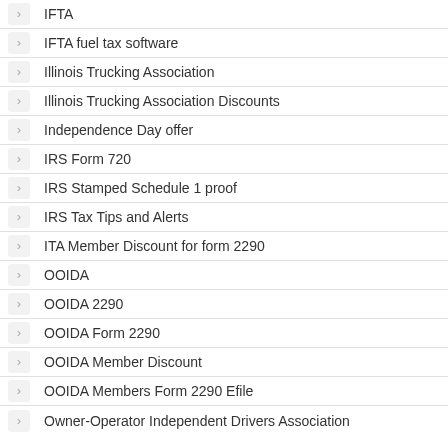IFTA
IFTA fuel tax software
Illinois Trucking Association
Illinois Trucking Association Discounts
Independence Day offer
IRS Form 720
IRS Stamped Schedule 1 proof
IRS Tax Tips and Alerts
ITA Member Discount for form 2290
OOIDA
OOIDA 2290
OOIDA Form 2290
OOIDA Member Discount
OOIDA Members Form 2290 Efile
Owner-Operator Independent Drivers Association